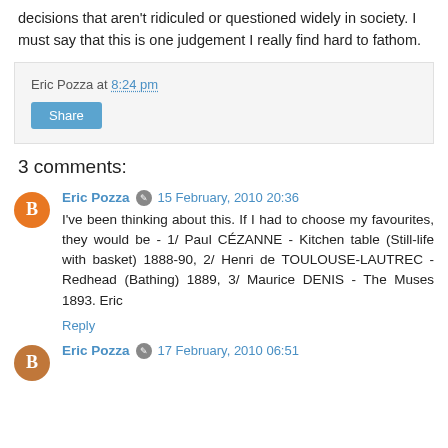decisions that aren't ridiculed or questioned widely in society. I must say that this is one judgement I really find hard to fathom.
Eric Pozza at 8:24 pm
Share
3 comments:
Eric Pozza  15 February, 2010 20:36
I've been thinking about this. If I had to choose my favourites, they would be - 1/ Paul CÉZANNE - Kitchen table (Still-life with basket) 1888-90, 2/ Henri de TOULOUSE-LAUTREC - Redhead (Bathing) 1889, 3/ Maurice DENIS - The Muses 1893. Eric
Reply
Eric Pozza  17 February, 2010 06:51